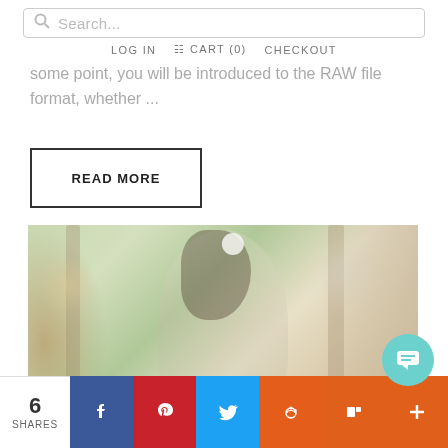Search... LOG IN CART (0) CHECKOUT
some point, you will be introduced to the RAW file format, whether ...
READ MORE
[Figure (photo): A young girl with long dark curly hair wearing a blue and white floral dress and a white flower hair accessory, posing outdoors with a blurred green garden background.]
6 SHARES